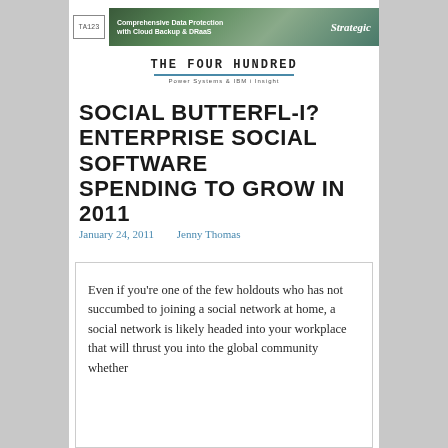[Figure (other): TA123 logo and advertisement banner for Strategic: Comprehensive Data Protection with Cloud Backup & DRaaS]
THE FOUR HUNDRED
Power Systems & IBM i Insight
SOCIAL BUTTERFL-I? ENTERPRISE SOCIAL SOFTWARE SPENDING TO GROW IN 2011
January 24, 2011    Jenny Thomas
Even if you're one of the few holdouts who has not succumbed to joining a social network at home, a social network is likely headed into your workplace that will thrust you into the global community whether